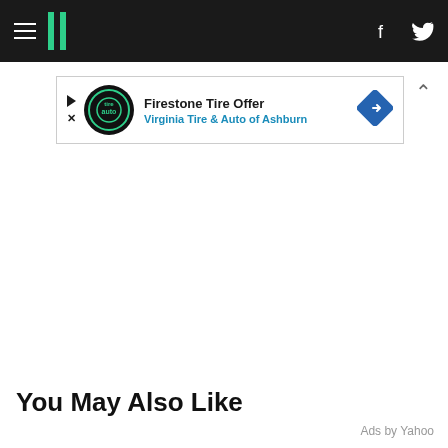HuffPost navigation bar with hamburger menu, logo, Facebook and Twitter icons
[Figure (other): Advertisement banner: Firestone Tire Offer - Virginia Tire & Auto of Ashburn, with circular auto logo and blue diamond directional sign icon]
You May Also Like
Ads by Yahoo